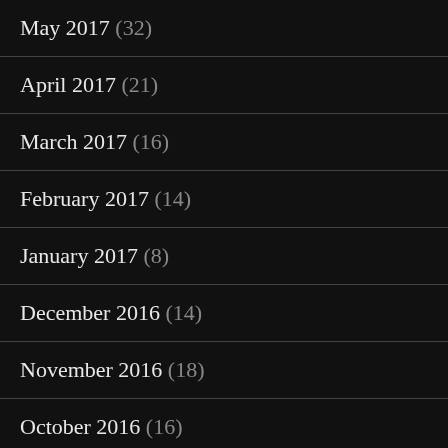May 2017 (32)
April 2017 (21)
March 2017 (16)
February 2017 (14)
January 2017 (8)
December 2016 (14)
November 2016 (18)
October 2016 (16)
September 2016 (32)
August 2016 (19)
July 2016 (370)